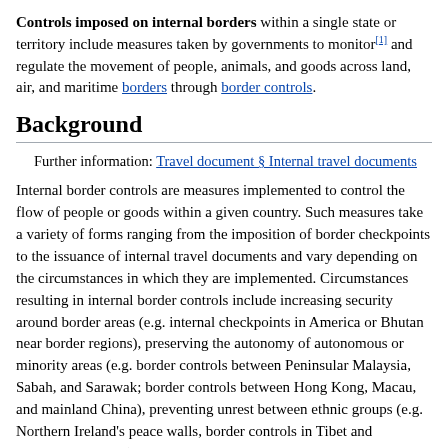Controls imposed on internal borders within a single state or territory include measures taken by governments to monitor[1] and regulate the movement of people, animals, and goods across land, air, and maritime borders through border controls.
Background
Further information: Travel document § Internal travel documents
Internal border controls are measures implemented to control the flow of people or goods within a given country. Such measures take a variety of forms ranging from the imposition of border checkpoints to the issuance of internal travel documents and vary depending on the circumstances in which they are implemented. Circumstances resulting in internal border controls include increasing security around border areas (e.g. internal checkpoints in America or Bhutan near border regions), preserving the autonomy of autonomous or minority areas (e.g. border controls between Peninsular Malaysia, Sabah, and Sarawak; border controls between Hong Kong, Macau, and mainland China), preventing unrest between ethnic groups (e.g. Northern Ireland's peace walls, border controls in Tibet and Northeastern India), and disputes between...